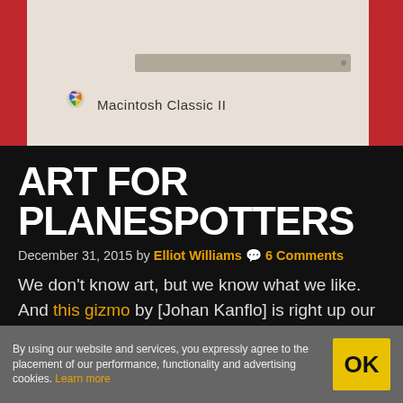[Figure (photo): Photo of a Macintosh Classic II computer with beige body, Apple rainbow logo, floppy drive slot, and red accents on the sides.]
ART FOR PLANESPOTTERS
December 31, 2015 by Elliot Williams 💬 6 Comments
We don't know art, but we know what we like. And this gizmo by [Johan Kanflo] is right up our alley.
By using our website and services, you expressly agree to the placement of our performance, functionality and advertising cookies. Learn more